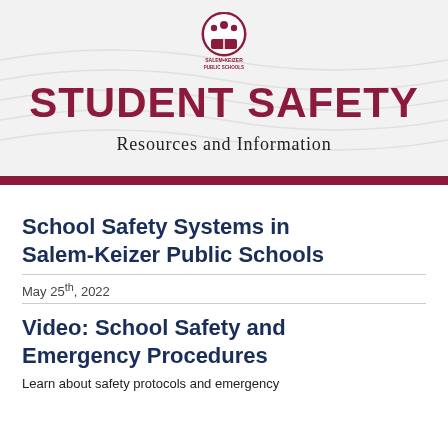[Figure (logo): Salem-Keizer Public Schools logo banner with maroon horizontal bars, school crest/logo at top center, large bold maroon text 'STUDENT SAFETY' and subtitle 'Resources and Information']
School Safety Systems in Salem-Keizer Public Schools
May 25th, 2022
Video: School Safety and Emergency Procedures
Learn about safety protocols and emergency